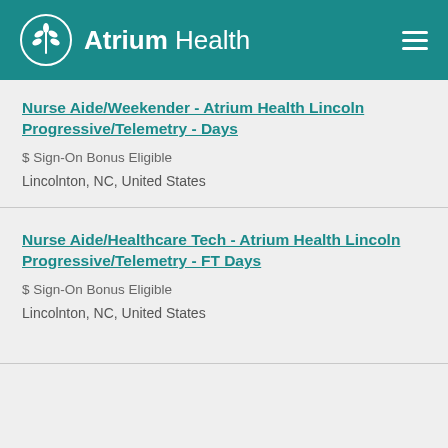Atrium Health
Nurse Aide/Weekender - Atrium Health Lincoln Progressive/Telemetry - Days
$ Sign-On Bonus Eligible
Lincolnton, NC, United States
Nurse Aide/Healthcare Tech - Atrium Health Lincoln Progressive/Telemetry - FT Days
$ Sign-On Bonus Eligible
Lincolnton, NC, United States